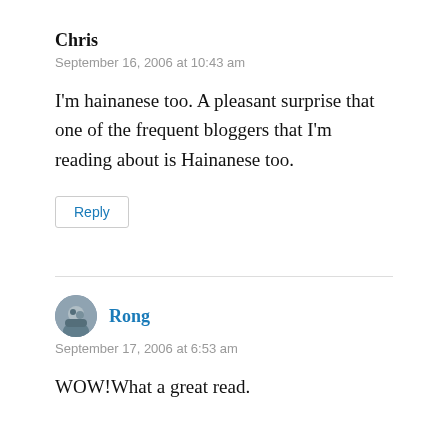Chris
September 16, 2006 at 10:43 am
I'm hainanese too. A pleasant surprise that one of the frequent bloggers that I'm reading about is Hainanese too.
Reply
Rong
September 17, 2006 at 6:53 am
WOW!What a great read.